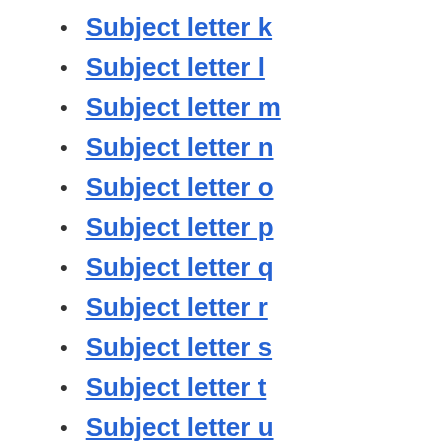Subject letter k
Subject letter l
Subject letter m
Subject letter n
Subject letter o
Subject letter p
Subject letter q
Subject letter r
Subject letter s
Subject letter t
Subject letter u
Subject letter v
Subject letter w